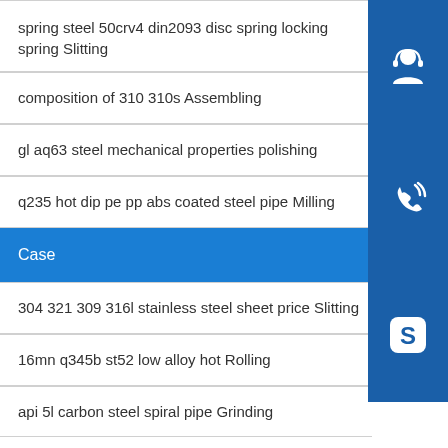spring steel 50crv4 din2093 disc spring locking spring Slitting
composition of 310 310s Assembling
gl aq63 steel mechanical properties polishing
q235 hot dip pe pp abs coated steel pipe Milling
Case
304 321 309 316l stainless steel sheet price Slitting
16mn q345b st52 low alloy hot Rolling
api 5l carbon steel spiral pipe Grinding
[Figure (infographic): Three vertically stacked dark blue square icon buttons on the right side: top has a headset/customer support icon, middle has a phone/call icon, bottom has a Skype icon (letter S).]